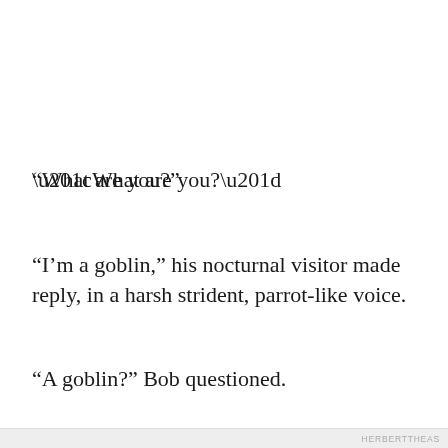“What are you?”
“I’m a goblin,” his nocturnal visitor made reply, in a harsh strident, parrot-like voice.
“A goblin?” Bob questioned.
“Yes.”
Privacy & Cookies: This site uses cookies. By continuing to use this website, you agree to their use.
To find out more, including how to control cookies, see here: Cookie Policy
HERBERTTHEAS